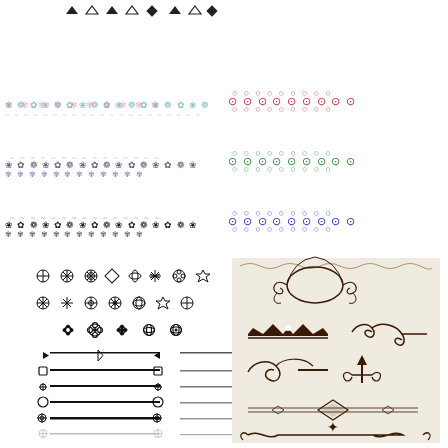[Figure (illustration): Decorative design elements collection: top row shows small black ornamental arrow/diamond divider symbols; middle section shows three rows of floral border dividers - row 1 has light multicolor floral pattern on left and red circular floral chain on right; row 2 has dark multicolor/purple floral pattern on left and green circular floral chain on right; row 3 has black and dark floral pattern on left and blue circular floral chain on right; bottom left shows grid of black outline snowflake/flower/star ornamental symbols in two rows plus partial third row, below which are six rows of horizontal line dividers with ornamental endpoints; bottom right shows beige/cream panel with vintage calligraphic ornamental frames, flourishes, and divider elements in dark brown/black.]